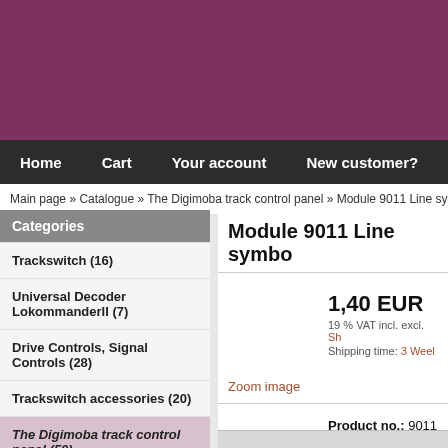[Figure (other): Purple/maroon header banner background]
Home   Cart   Your account   New customer?
Main page » Catalogue » The Digimoba track control panel » Module 9011 Line symbo
Categories
Trackswitch (16)
Universal Decoder LokommanderII (7)
Drive Controls, Signal Controls (28)
Trackswitch accessories (20)
The Digimoba track control panel (50)
Transponder technology (5)
Module 9011 Line symbo
1,40 EUR
19 % VAT incl. excl. Sh
Shipping time: 3 Weel
Zoom image
Product no.: 9011